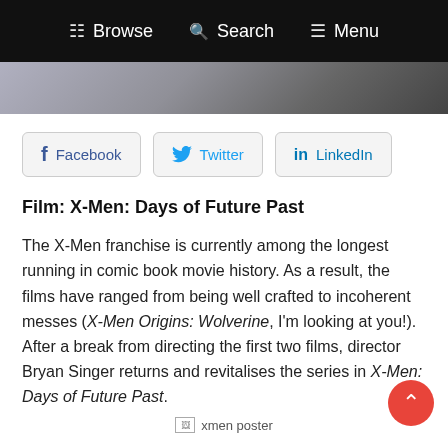Browse  Search  Menu
[Figure (photo): Blurred hero image background, grey-blue tones]
Facebook
Twitter
LinkedIn
Film: X-Men: Days of Future Past
The X-Men franchise is currently among the longest running in comic book movie history. As a result, the films have ranged from being well crafted to incoherent messes (X-Men Origins: Wolverine, I'm looking at you!). After a break from directing the first two films, director Bryan Singer returns and revitalises the series in X-Men: Days of Future Past.
[Figure (photo): xmen poster (broken image placeholder)]